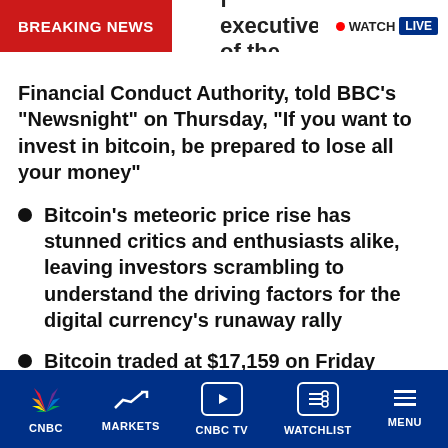BREAKING NEWS
Financial Conduct Authority, told BBC's “Newsnight” on Thursday, “If you want to invest in bitcoin, be prepared to lose all your money”
Bitcoin’s meteoric price rise has stunned critics and enthusiasts alike, leaving investors scrambling to understand the driving factors for the digital currency’s runaway rally
Bitcoin traded at $17,159 on Friday morning, according to CoinDesk’s bitcoin price index
CNBC  MARKETS  CNBC TV  WATCHLIST  MENU